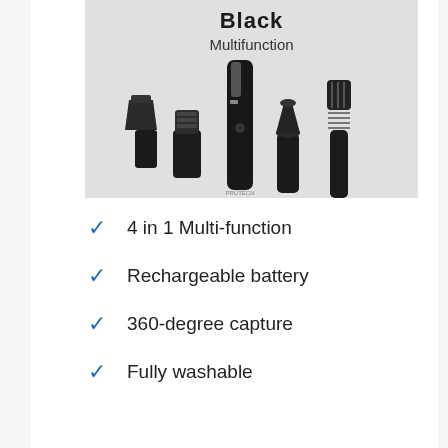[Figure (photo): Product photo of a black multifunction trimmer kit showing the main trimmer unit and 4 attachments against a light grey background. Text 'Black' and 'Multifunction' visible at top of image.]
4 in 1 Multi-function
Rechargeable battery
360-degree capture
Fully washable